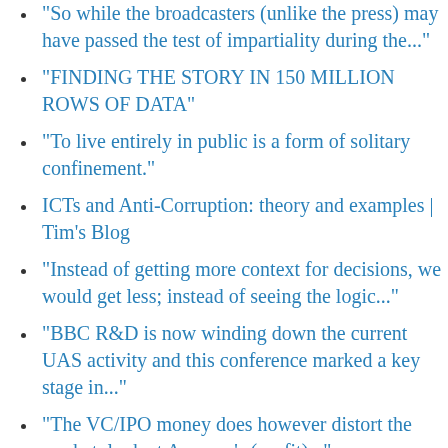"So while the broadcasters (unlike the press) may have passed the test of impartiality during the..."
"FINDING THE STORY IN 150 MILLION ROWS OF DATA"
"To live entirely in public is a form of solitary confinement."
ICTs and Anti-Corruption: theory and examples | Tim's Blog
"Instead of getting more context for decisions, we would get less; instead of seeing the logic..."
"BBC R&D is now winding down the current UAS activity and this conference marked a key stage in..."
"The VC/IPO money does however distort the market, look at Amazon's (profit)..."